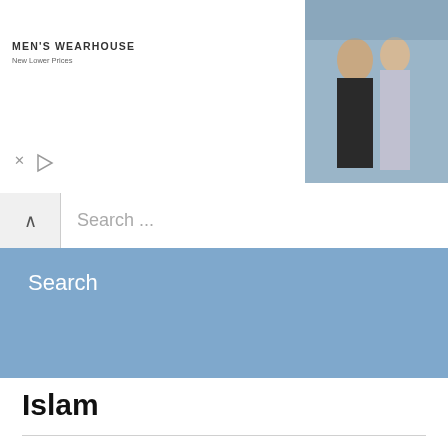[Figure (photo): Men's Wearhouse advertisement banner showing a couple in formalwear and a man in a suit, with an INFO button]
Search ...
Search
Islam
When Is Hajj 2022 And Eid In Saudi Arabia